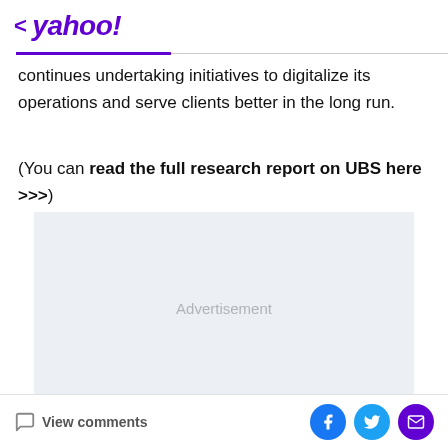< yahoo!
continues undertaking initiatives to digitalize its operations and serve clients better in the long run.
(You can read the full research report on UBS here >>>)
[Figure (other): Advertisement placeholder box with light gray background]
View comments | Share on Facebook, Twitter, Email